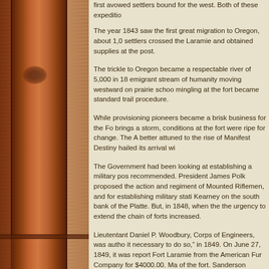first avowed settlers bound for the west. Both of these expeditions...
The year 1843 saw the first great migration to Oregon, about 1,0[00] settlers crossed the Laramie and obtained supplies at the post.
The trickle to Oregon became a respectable river of 5,000 in 18[44,] emigrant stream of humanity moving westward on prairie schoo[ners,] mingling at the fort became standard trail procedure.
While provisioning pioneers became a brisk business for the Fo[rt, as] brings a storm, conditions at the fort were ripe for change. The A[rmy,] better attuned to the rise of Manifest Destiny hailed its arrival wi[th...]
The Government had been looking at establishing a military pos[t and] recommended. President James Polk proposed the action and [a] regiment of Mounted Riflemen, and for establishing military stati[ons.] Kearney on the south bank of the Platte. But, in 1848, when the[...] the urgency to extend the chain of forts increased.
Lieutentant Daniel P. Woodbury, Corps of Engineers, was autho[rized] it necessary to do so," in 1849. On June 27, 1849, it was repor[ted] Fort Laramie from the American Fur Company for $4000.00. Ma[...] of the fort. Sanderson reported that good timber, limestone, hay[...] furnished abundant good water for the command.